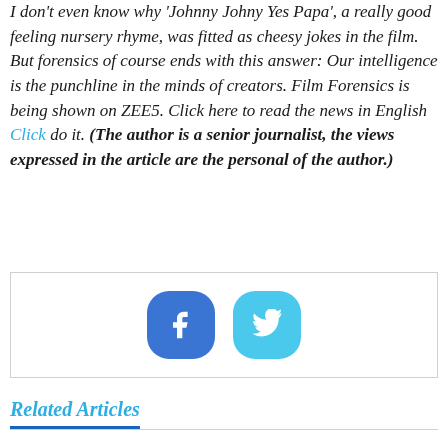I don't even know why 'Johnny Johny Yes Papa', a really good feeling nursery rhyme, was fitted as cheesy jokes in the film. But forensics of course ends with this answer: Our intelligence is the punchline in the minds of creators. Film Forensics is being shown on ZEE5. Click here to read the news in English Click do it. (The author is a senior journalist, the views expressed in the article are the personal of the author.)
[Figure (other): Social share buttons: Facebook (blue rounded rectangle) and Twitter (light blue rounded rectangle)]
Related Articles